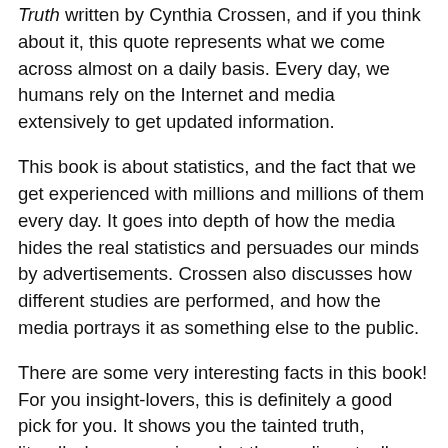Truth written by Cynthia Crossen, and if you think about it, this quote represents what we come across almost on a daily basis. Every day, we humans rely on the Internet and media extensively to get updated information.
This book is about statistics, and the fact that we get experienced with millions and millions of them every day. It goes into depth of how the media hides the real statistics and persuades our minds by advertisements. Crossen also discusses how different studies are performed, and how the media portrays it as something else to the public.
There are some very interesting facts in this book! For you insight-lovers, this is definitely a good pick for you. It shows you the tainted truth, literally, by uncovering what the media actually presents us with. Crossen describes how what we hear on the media, or read on the Internet is